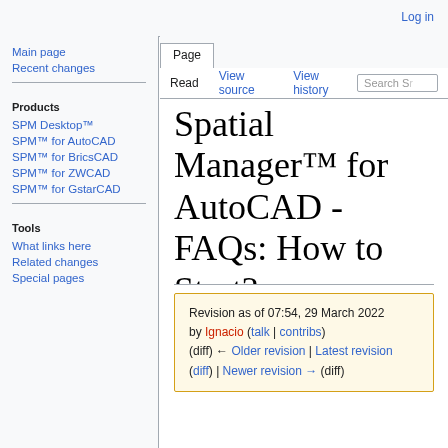Log in
Page | Read | View source | View history | Search
Spatial Manager™ for AutoCAD - FAQs: How to Start?
Revision as of 07:54, 29 March 2022 by Ignacio (talk | contribs) (diff) ← Older revision | Latest revision (diff) | Newer revision → (diff)
Main page
Recent changes
Products
SPM Desktop™
SPM™ for AutoCAD
SPM™ for BricsCAD
SPM™ for ZWCAD
SPM™ for GstarCAD
Tools
What links here
Related changes
Special pages